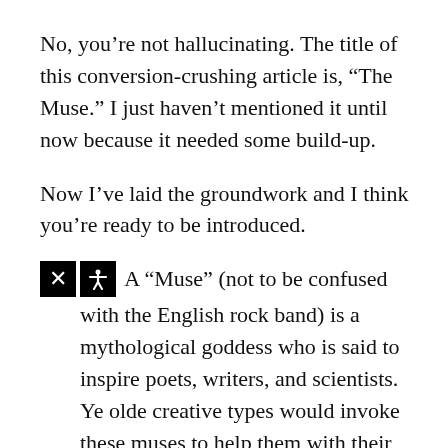No, you’re not hallucinating. The title of this conversion-crushing article is, “The Muse.” I just haven’t mentioned it until now because it needed some build-up.
Now I’ve laid the groundwork and I think you’re ready to be introduced.
A “Muse” (not to be confused with the English rock band) is a mythological goddess who is said to inspire poets, writers, and scientists. Ye olde creative types would invoke these muses to help them with their work.
Not to worry! I’m not suggesting in any way you should become a polytheist or engage in any